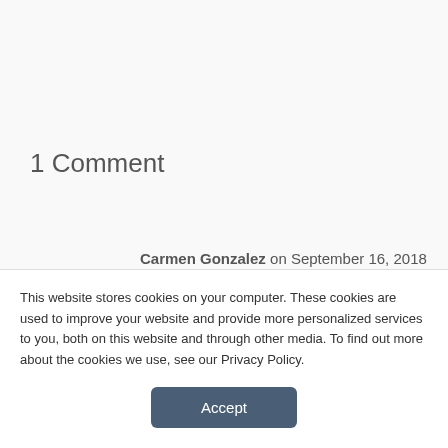1 Comment
Carmen Gonzalez on September 16, 2018 at 10:08 am
Can i use my care credit for a sleeping test done and how much is the test.
This website stores cookies on your computer. These cookies are used to improve your website and provide more personalized services to you, both on this website and through other media. To find out more about the cookies we use, see our Privacy Policy.
Accept